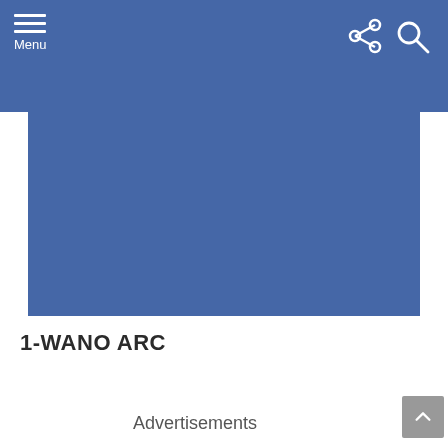Menu
[Figure (illustration): Blue rectangular image area placeholder]
1-WANO ARC
Advertisements